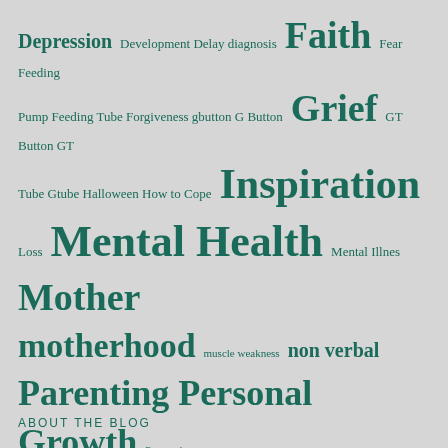[Figure (infographic): Word cloud containing terms related to a blog about parenting, special needs, mental health, and spirituality. Words vary in size indicating frequency/prominence. All words are in dark teal/green color on a light gray background. Large words include: Faith, Grief, Inspiration, Mental Health, Mother, motherhood, Parenting, Personal Growth, Perspective, Special Needs, Strength. Smaller words include: Depression, Development Delay, diagnosis, Fear, Feeding Pump, Feeding Tube, Forgiveness, gbutton, G Button, GT Button, GT Tube, Gtube, Halloween, How to Cope, Loss, Mental Illnes, muscle weakness, non verbal, Pride, PTSD, Purpose, Scriptures, Self Developement, siblings, Son, Spiritual Growth, Spiritual Health, Spoonie, Spoon Theory, Trauma, Trick or Treating, Tube Feeding, tubie, Writing, Perspecive.]
ABOUT THE BLOG